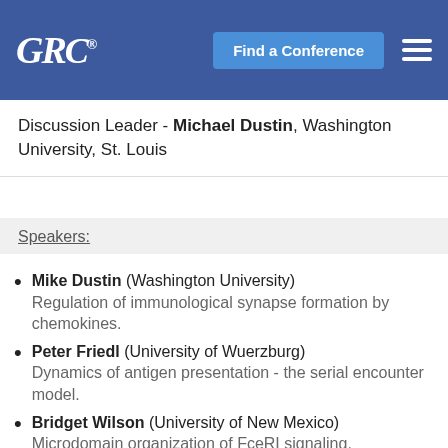GRC® | Find a Conference
Discussion Leader - Michael Dustin, Washington University, St. Louis
Speakers:
Mike Dustin (Washington University) Regulation of immunological synapse formation by chemokines.
Peter Friedl (University of Wuerzburg) Dynamics of antigen presentation - the serial encounter model.
Bridget Wilson (University of New Mexico) Microdomain organization of FceRI signaling.
Avi Kupfer (National Jewish Medical and